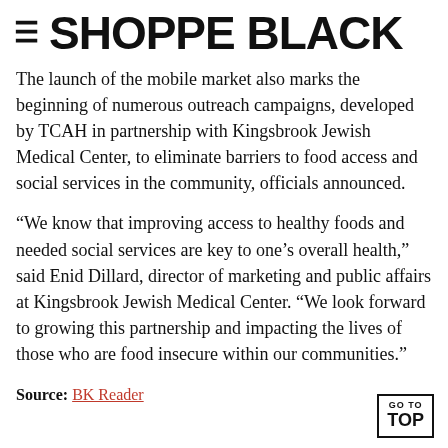≡ SHOPPE BLACK
The launch of the mobile market also marks the beginning of numerous outreach campaigns, developed by TCAH in partnership with Kingsbrook Jewish Medical Center, to eliminate barriers to food access and social services in the community, officials announced.
“We know that improving access to healthy foods and needed social services are key to one’s overall health,” said Enid Dillard, director of marketing and public affairs at Kingsbrook Jewish Medical Center. “We look forward to growing this partnership and impacting the lives of those who are food insecure within our communities.”
Source: BK Reader